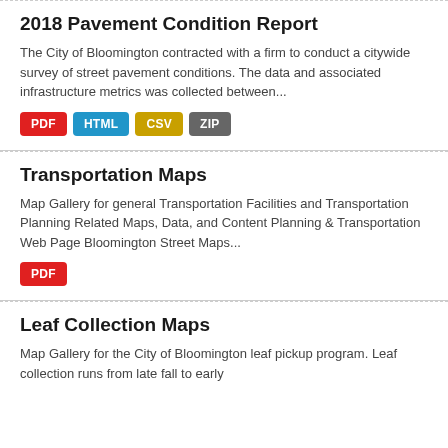2018 Pavement Condition Report
The City of Bloomington contracted with a firm to conduct a citywide survey of street pavement conditions. The data and associated infrastructure metrics was collected between...
PDF HTML CSV ZIP
Transportation Maps
Map Gallery for general Transportation Facilities and Transportation Planning Related Maps, Data, and Content Planning & Transportation Web Page Bloomington Street Maps...
PDF
Leaf Collection Maps
Map Gallery for the City of Bloomington leaf pickup program. Leaf collection runs from late fall to early